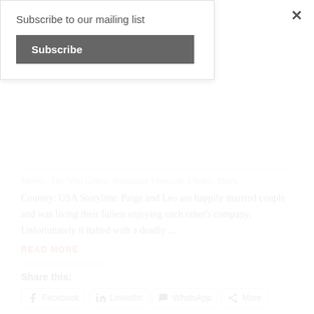Subscribe to our mailing list
Subscribe
Movie: The You Genre: Romance Director: Finder: Days, Country: USA Storyline: Paige and Leo are happily married couple and was living their fullest enjoying each other's company. Unfortunately it halted with a deadly ...
READ MORE
Share this:
Facebook   LinkedIn   WhatsApp   More
Like this:
Loading...